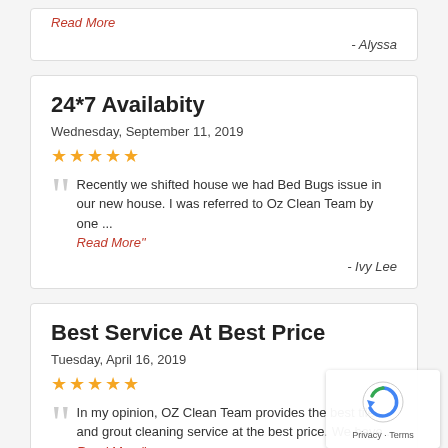Read More
- Alyssa
24*7 Availabity
Wednesday, September 11, 2019
★★★★★
Recently we shifted house we had Bed Bugs issue in our new house. I was referred to Oz Clean Team by one ...
Read More"
- Ivy Lee
Best Service At Best Price
Tuesday, April 16, 2019
★★★★★
In my opinion, OZ Clean Team provides the best tile and grout cleaning service at the best price. We have...
Read More"